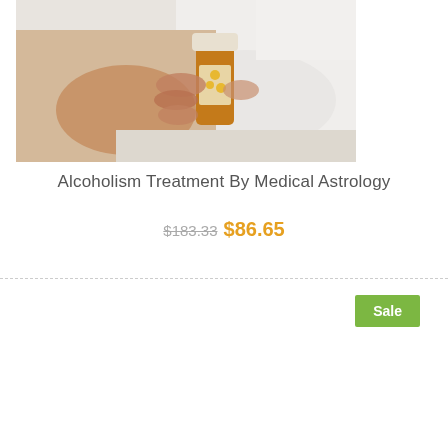[Figure (photo): A person in a white lab coat holding an amber prescription pill bottle, with another person visible in the background near a desk.]
Alcoholism Treatment By Medical Astrology
$183.33 $86.65
Sale